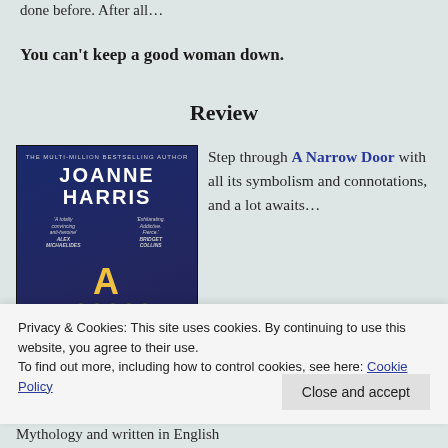done before. After all…
You can't keep a good woman down.
Review
[Figure (photo): Book cover of 'A Narrow Door' by Joanne Harris, dark blue background with ivy and golden title text]
Step through A Narrow Door with all its symbolism and connotations, and a lot awaits…
The book is split into
Privacy & Cookies: This site uses cookies. By continuing to use this website, you agree to their use.
To find out more, including how to control cookies, see here: Cookie Policy
Close and accept
Mythology and written in English